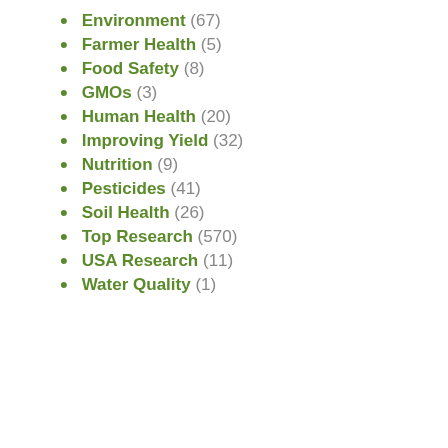Environment (67)
Farmer Health (5)
Food Safety (8)
GMOs (3)
Human Health (20)
Improving Yield (32)
Nutrition (9)
Pesticides (41)
Soil Health (26)
Top Research (570)
USA Research (11)
Water Quality (1)